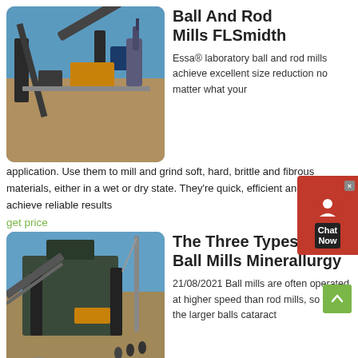[Figure (photo): Industrial mining conveyor belt machinery at an outdoor site with blue sky background]
Ball And Rod Mills FLSmidth
Essa® laboratory ball and rod mills achieve excellent size reduction no matter what your application. Use them to mill and grind soft, hard, brittle and fibrous materials, either in a wet or dry state. They're quick, efficient and known to achieve reliable results
get price
[Figure (photo): Industrial ball mill equipment at an outdoor construction/mining site with workers and cranes visible]
The Three Types Of Ball Mills Minerallurgy
21/08/2021 Ball mills are often operated at higher speed than rod mills, so that the larger balls cataract